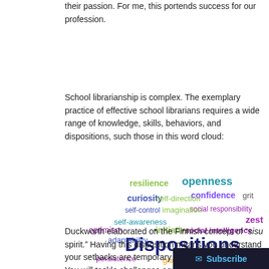their passion. For me, this portends success for our profession.
School librarianship is complex. The exemplary practice of effective school librarians requires a wide range of knowledge, skills, behaviors, and dispositions, such those in this word cloud:
[Figure (infographic): Word cloud featuring dispositions for school librarians including: openness, resilience, curiosity, self-direction, confidence, grit, self-control, imagination, social responsibility, self-awareness, initiative, social intelligence, zest, optimism, Dispositions (large), adaptability, persistence, gratitude, flexibility]
Duckworth elaborated on the Finnish concept of “sisu spirit.” Having this disposition means you understand your setbacks are temporary learning opportunities. You will tackle challenges again no matter what. Setbacks won’t h…